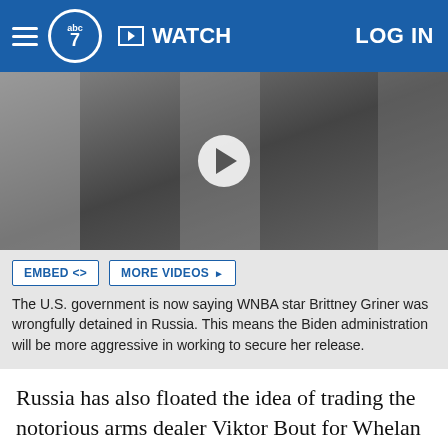abc7 | WATCH | LOG IN
[Figure (screenshot): Video thumbnail showing a dark-dressed person in a room, with a circular play button overlay in the center]
EMBED <> MORE VIDEOS ▶
The U.S. government is now saying WNBA star Brittney Griner was wrongfully detained in Russia. This means the Biden administration will be more aggressive in working to secure her release.
Russia has also floated the idea of trading the notorious arms dealer Viktor Bout for Whelan and Griner. Bout, nicknamed the "Merchant of Death" is serving a 25-year prison sentence in the United States, convicted on narco-terrorism charges.